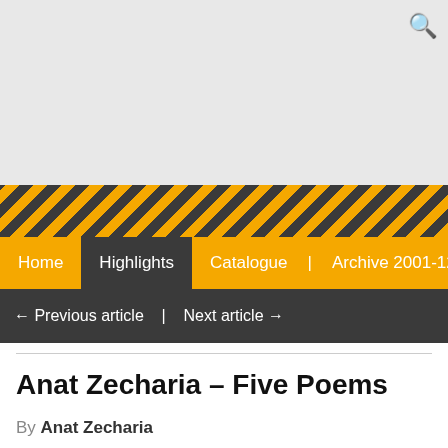🔍
[Figure (illustration): Diagonal hazard stripe pattern bar in yellow and dark grey]
Home | Highlights | Catalogue | Archive 2001-12 | About
← Previous article   |   Next article →
Anat Zecharia – Five Poems
By Anat Zecharia